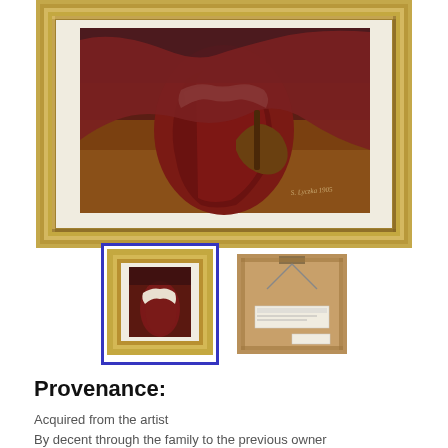[Figure (photo): Close-up of a framed oil painting in a gold frame. The painting shows a woman in a dark red dress with a white shawl, holding what appears to be a violin or similar instrument. The background is dark reddish-brown. The frame is ornate gold with a cream/ivory mat.]
[Figure (photo): Two thumbnail images: left thumbnail shows the full framed painting of a woman in red dress with a blue selection border; right thumbnail shows the back of the framed painting with a brown cardboard backing and a label.]
Provenance:
Acquired from the artist
By decent through the family to the previous owner